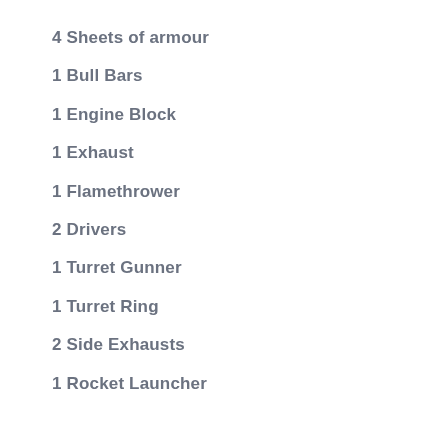4 Sheets of armour
1 Bull Bars
1 Engine Block
1 Exhaust
1 Flamethrower
2 Drivers
1 Turret Gunner
1 Turret Ring
2 Side Exhausts
1 Rocket Launcher